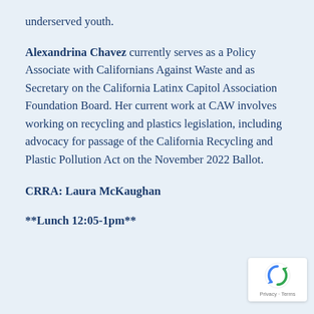underserved youth.
Alexandrina Chavez currently serves as a Policy Associate with Californians Against Waste and as Secretary on the California Latinx Capitol Association Foundation Board. Her current work at CAW involves working on recycling and plastics legislation, including advocacy for passage of the California Recycling and Plastic Pollution Act on the November 2022 Ballot.
CRRA: Laura McKaughan
**Lunch 12:05-1pm**